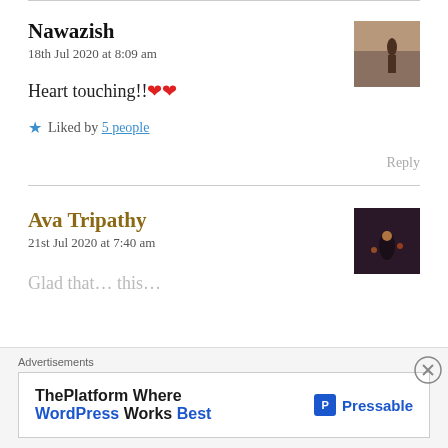Nawazish
18th Jul 2020 at 8:09 am
Heart touching!! ❤❤
★ Liked by 5 people
Reply
[Figure (photo): Avatar thumbnail of Nawazish - person standing by water]
Ava Tripathy
21st Jul 2020 at 7:40 am
[Figure (photo): Avatar thumbnail of Ava Tripathy - silhouette with bokeh lights]
Glad that...this...
Advertisements
ThePlatform Where WordPress Works Best — Pressable